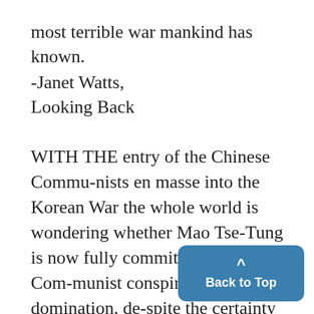most terrible war mankind has known.
-Janet Watts,
Looking Back
WITH THE entry of the Chinese Communists en masse into the Korean War the whole world is wondering whether Mao Tse-Tung is now fully committed to the Communist conspiracy for world domination, despite the certainty that attempts to carry' through such a conspiracy by force will ultimately bring on World War III The outbreak of total war can be ed should Russia refuse to come to the
[Figure (other): Back to Top navigation button (blue rounded rectangle with upward arrow and 'Back to Top' label)]